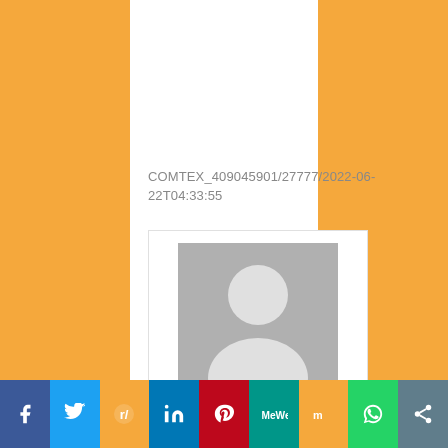COMTEX_409045901/27777/2022-06-22T04:33:55
[Figure (illustration): Default user avatar placeholder image (grey silhouette of a person on grey background)]
Cloud PR Wire
Social share bar: Facebook, Twitter, Reddit, LinkedIn, Pinterest, MeWe, Mix, WhatsApp, Share